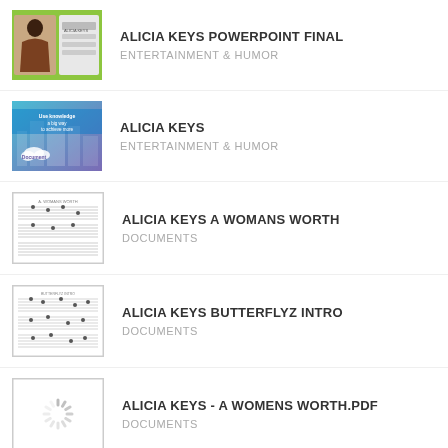[Figure (screenshot): Thumbnail for Alicia Keys Powerpoint Final - green background with book/album cover]
ALICIA KEYS POWERPOINT FINAL
ENTERTAINMENT & HUMOR
[Figure (screenshot): Thumbnail for Alicia Keys - teal and purple cityscape with cloud document icon]
ALICIA KEYS
ENTERTAINMENT & HUMOR
[Figure (screenshot): Thumbnail for Alicia Keys A Womans Worth - sheet music document]
ALICIA KEYS A WOMANS WORTH
DOCUMENTS
[Figure (screenshot): Thumbnail for Alicia Keys Butterflyz Intro - sheet music document]
ALICIA KEYS BUTTERFLYZ INTRO
DOCUMENTS
[Figure (screenshot): Thumbnail showing loading spinner icon]
ALICIA KEYS - A WOMENS WORTH.PDF
DOCUMENTS